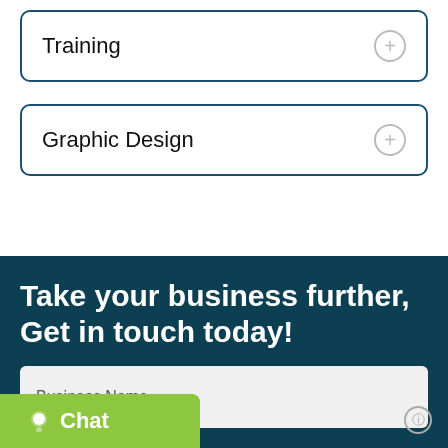Training
Graphic Design
Take your business further, Get in touch today!
Business Name